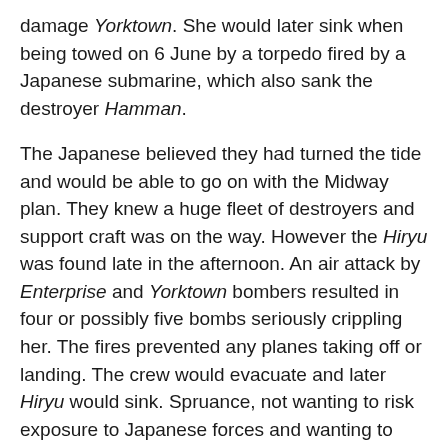damage Yorktown. She would later sink when being towed on 6 June by a torpedo fired by a Japanese submarine, which also sank the destroyer Hamman.
The Japanese believed they had turned the tide and would be able to go on with the Midway plan. They knew a huge fleet of destroyers and support craft was on the way. However the Hiryu was found late in the afternoon. An air attack by Enterprise and Yorktown bombers resulted in four or possibly five bombs seriously crippling her. The fires prevented any planes taking off or landing. The crew would evacuate and later Hiryu would sink. Spruance, not wanting to risk exposure to Japanese forces and wanting to protect Midway would retire to the west. Admiral Yamamoto still wanted to invade Midway and proceeded on course. Had Spruance not changed course, the remaining two carriers of the American fleet would have been exposed to Yamamoto's destroyers. Spruance would go after the stragglers. Yamamoto ultimately ordered the fleet back to Japan not knowing the full composition of the